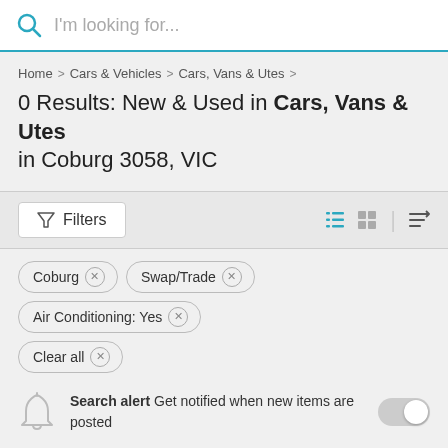I'm looking for...
Home > Cars & Vehicles > Cars, Vans & Utes >
0 Results: New & Used in Cars, Vans & Utes in Coburg 3058, VIC
Filters
Coburg ×
Swap/Trade ×
Air Conditioning: Yes ×
Clear all ×
Search alert  Get notified when new items are posted